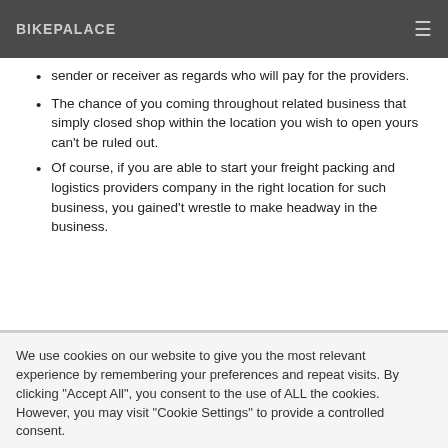BIKEPALACE
sender or receiver as regards who will pay for the providers.
The chance of you coming throughout related business that simply closed shop within the location you wish to open yours can't be ruled out.
Of course, if you are able to start your freight packing and logistics providers company in the right location for such business, you gained't wrestle to make headway in the business.
We use cookies on our website to give you the most relevant experience by remembering your preferences and repeat visits. By clicking "Accept All", you consent to the use of ALL the cookies. However, you may visit "Cookie Settings" to provide a controlled consent.